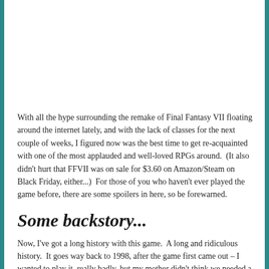With all the hype surrounding the remake of Final Fantasy VII floating around the internet lately, and with the lack of classes for the next couple of weeks, I figured now was the best time to get re-acquainted with one of the most applauded and well-loved RPGs around.  (It also didn't hurt that FFVII was on sale for $3.60 on Amazon/Steam on Black Friday, either...)  For those of you who haven't ever played the game before, there are some spoilers in here, so be forewarned.
Some backstory...
Now, I've got a long history with this game.  A long and ridiculous history.  It goes way back to 1998, after the game first came out – I wanted to play it, really badly, but my mother didn't think we needed a PlayStation in addition to our box of Nintendo games, so...